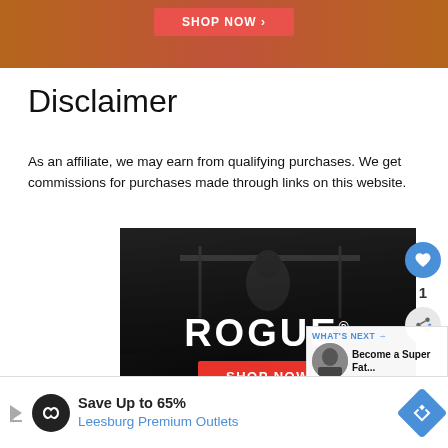[Figure (photo): Top portion of a Rogue fitness advertisement banner with a red 'SHOP NOW ›' button visible at the top]
Disclaimer
As an affiliate, we may earn from qualifying purchases. We get commissions for purchases made through links on this website.
[Figure (photo): Rogue fitness advertisement showing a shirtless male athlete doing pull-ups in black and white, with 'ROGUE' logo and a red 'SHOP NOW' button]
[Figure (photo): What's Next panel showing a thumbnail and text 'Become a Super Fat...']
[Figure (photo): Bottom advertisement banner: Save Up to 65% - Leesburg Premium Outlets, with navigation arrow icon]